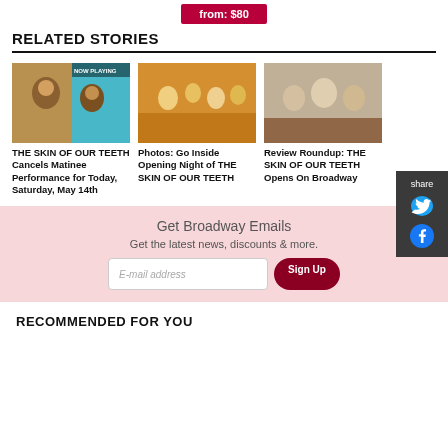[Figure (other): Red banner button with text 'from: $80']
RELATED STORIES
[Figure (photo): Photo for 'THE SKIN OF OUR TEETH Cancels Matinee Performance' story with 'NOW PLAYING' overlay]
THE SKIN OF OUR TEETH Cancels Matinee Performance for Today, Saturday, May 14th
[Figure (photo): Photo for 'Photos: Go Inside Opening Night of THE SKIN OF OUR TEETH' story]
Photos: Go Inside Opening Night of THE SKIN OF OUR TEETH
[Figure (photo): Photo for 'Review Roundup: THE SKIN OF OUR TEETH Opens On Broadway' story]
Review Roundup: THE SKIN OF OUR TEETH Opens On Broadway
share
Get Broadway Emails
Get the latest news, discounts & more.
RECOMMENDED FOR YOU